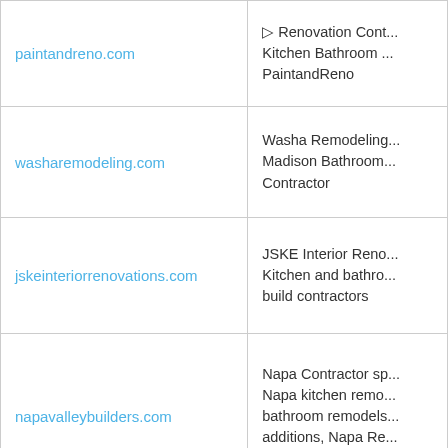| Domain | Description |
| --- | --- |
| paintandreno.com | ▷ Renovation Cont... Kitchen Bathroom ... PaintandReno |
| washaremodeling.com | Washa Remodeling... Madison Bathroom... Contractor |
| jskeinteriorrenovations.com | JSKE Interior Reno... Kitchen and bathro... build contractors |
| napavalleybuilders.com | Napa Contractor sp... Napa kitchen remo... bathroom remodels... additions, Napa Re... Contractor,Napa C... |
| atlascontractingpro.com | Painting Contractor... Remodeling Contra... Kitchen Renovation... Basement Remode... |